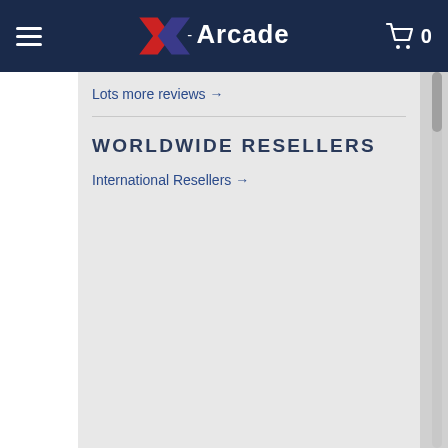X-Arcade
Lots more reviews →
WORLDWIDE RESELLERS
International Resellers →